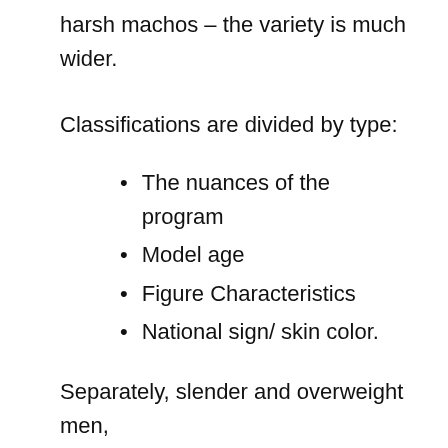harsh machos – the variety is much wider.
Classifications are divided by type:
The nuances of the program
Model age
Figure Characteristics
National sign/ skin color.
Separately, slender and overweight men, delicate and pumped up, stand out. You can likewise select a model by age – the website offers categories of young boys,